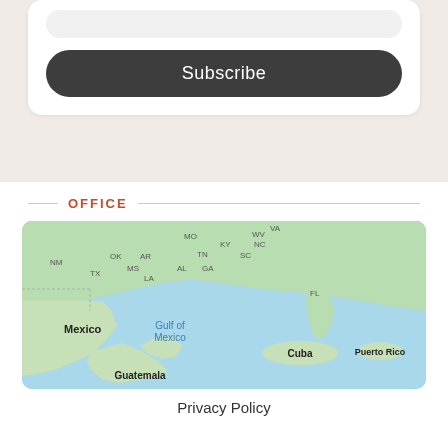Subscribe
OFFICE
[Figure (map): Map showing southeastern United States, Mexico, Gulf of Mexico, Cuba, Puerto Rico, Guatemala. State abbreviations visible: NM, OK, AR, MS, TX, LA, MO, KY, TN, AL, GA, WV, VA, NC, SC, FL. Countries/regions labeled: Mexico, Gulf of Mexico, Cuba, Puerto Rico, Guatemala.]
Privacy Policy